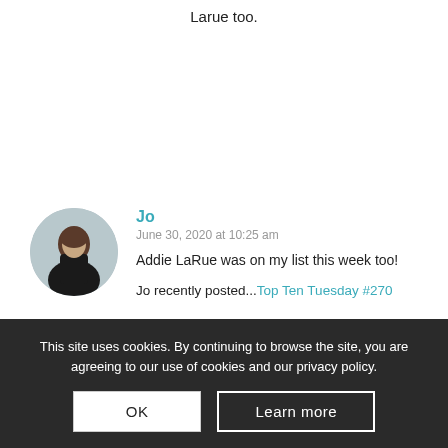Larue too.
Jo
June 30, 2020 at 10:25 am
Addie LaRue was on my list this week too!
Jo recently posted...Top Ten Tuesday #270
Suzanne
July 3, 2020 at 8:25 am
Hopefully we'll both love it!
This site uses cookies. By continuing to browse the site, you are agreeing to our use of cookies and our privacy policy.